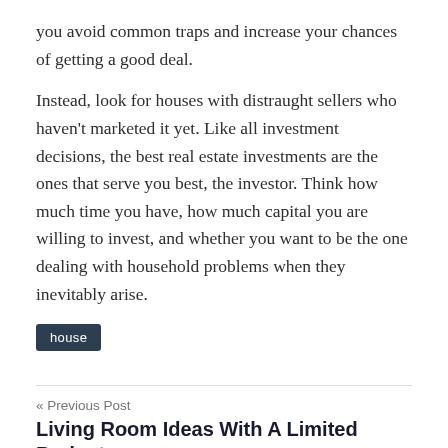you avoid common traps and increase your chances of getting a good deal.
Instead, look for houses with distraught sellers who haven't marketed it yet. Like all investment decisions, the best real estate investments are the ones that serve you best, the investor. Think how much time you have, how much capital you are willing to invest, and whether you want to be the one dealing with household problems when they inevitably arise.
house
« Previous Post
Living Room Ideas With A Limited Budget